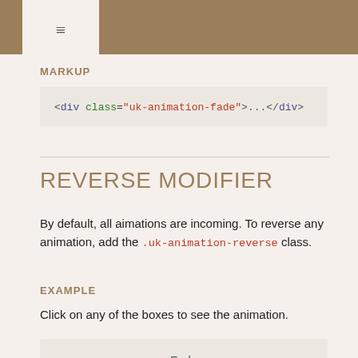≡
MARKUP
<div class="uk-animation-fade">...</div>
REVERSE MODIFIER
By default, all aimations are incoming. To reverse any animation, add the .uk-animation-reverse class.
EXAMPLE
Click on any of the boxes to see the animation.
Fade